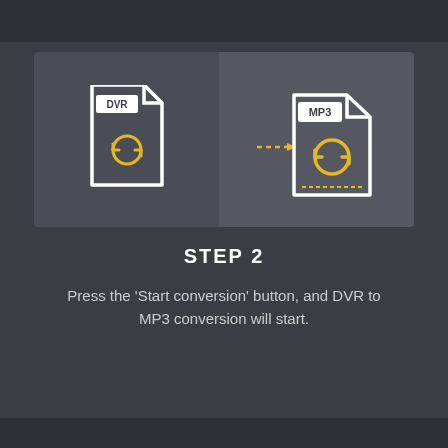[Figure (infographic): Two file icons side by side: a DVR file icon on the left (white document shape with orange/yellow circular arrows) and an MP3 file icon on the right (white document shape, larger, with orange/yellow circular arrows), connected by dotted arrows pointing right, on a dark background split into two panels.]
STEP 2
Press the 'Start conversion' button, and DVR to MP3 conversion will start.